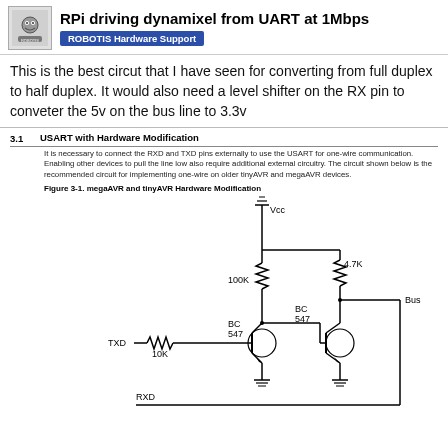RPi driving dynamixel from UART at 1Mbps | ROBOTIS Hardware Support
This is the best circut that I have seen for converting from full duplex to half duplex. It would also need a level shifter on the RX pin to conveter the 5v on the bus line to 3.3v
3.1   USART with Hardware Modification
It is necessary to connect the RXD and TXD pins externally to use the USART for one-wire communication. Enabling other devices to pull the line low also require additional external circuitry. The circuit shown below is the recommended circuit for implementing one-wire on older tinyAVR and megaAVR devices.
Figure 3-1.  megaAVR and tinyAVR Hardware Modification
[Figure (circuit-diagram): Electronic circuit diagram showing full duplex to half duplex conversion using two BC547 NPN transistors, resistors (100K, 10K, 4.7K), with TXD input, RXD output, Vcc power supply, and Bus line output. The circuit uses pull-up resistors and transistor switching for USART one-wire communication.]